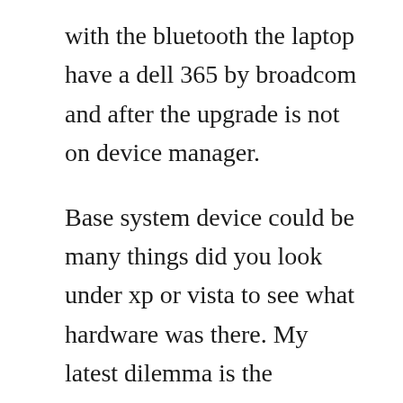with the bluetooth the laptop have a dell 365 by broadcom and after the upgrade is not on device manager.
Base system device could be many things did you look under xp or vista to see what hardware was there. My latest dilemma is the broadcom mini 370 bluetooth adapter. But dell, microsoft, and broadcom put their little heads together and decided i didnt need bluetooth anymore. Please leave a like, share, and subscribe for more guides. Dell precision m6400 drivers for windows 7 oct 02 2010 dell